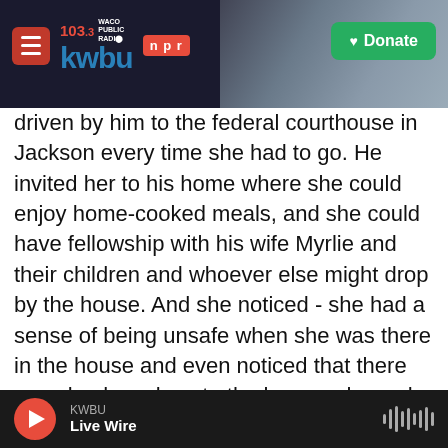103.3 KWBU WACO PUBLIC RADIO | npr | Donate
driven by him to the federal courthouse in Jackson every time she had to go. He invited her to his home where she could enjoy home-cooked meals, and she could have fellowship with his wife Myrlie and their children and whoever else might drop by the house. And she noticed - she had a sense of being unsafe when she was there in the house and even noticed that there were bushes close to the home, where she thought they could be a hiding place for someone who wanted to do them harm. And that is what ended up happening. Medgar Evers was assassinated. And she was devastated. She couldn't get out of bed for weeks. She couldn't
KWBU | Live Wire